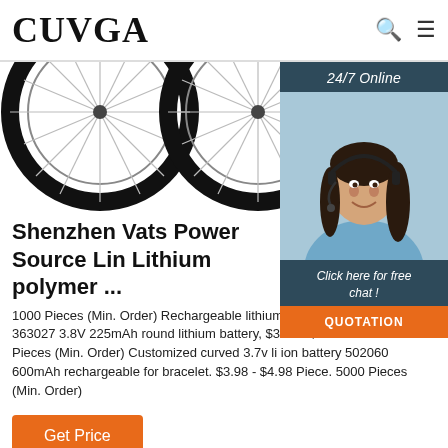CUVGA
[Figure (photo): Two bicycle wheels visible from the top — dark tires with spokes showing on a white background]
[Figure (photo): 24/7 Online chat widget with a smiling female customer service representative wearing a headset, above a 'Click here for free chat!' button and an orange QUOTATION button]
Shenzhen Vats Power Source Lin Lithium polymer ...
1000 Pieces (Min. Order) Rechargeable lithium poly for motion sensor 363027 3.8V 225mAh round lithium battery, $3.80 - $6.00 Piece. 1000 Pieces (Min. Order) Customized curved 3.7v li ion battery 502060 600mAh rechargeable for bracelet. $3.98 - $4.98 Piece. 5000 Pieces (Min. Order)
Get Price